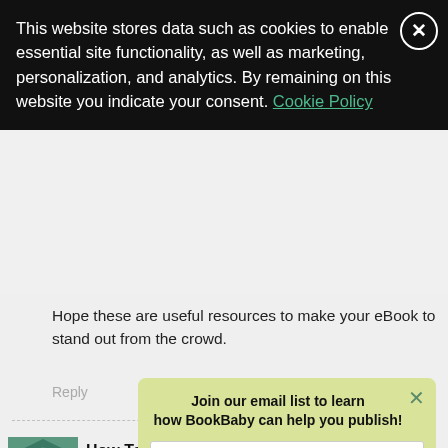This website stores data such as cookies to enable essential site functionality, as well as marketing, personalization, and analytics. By remaining on this website you indicate your consent. Cookie Policy
Hope these are useful resources to make your eBook to stand out from the crowd.
Reply
[Figure (other): User avatar with geometric green and white diamond/star quilt pattern]
How To Self Publish Poetry | wholewheatdiet.com
Join our email list to learn how BookBaby can help you publish!
Your email
Sign Me Up
So you he to